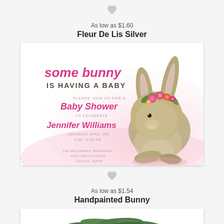[Figure (illustration): Heart/favorite icon (grey)]
As low as $1.60
Fleur De Lis Silver
[Figure (illustration): Baby shower invitation card with watercolor bunny wearing floral crown, pink background, text reads: some bunny IS HAVING A BABY - PLEASE JOIN US FOR A Baby Shower TO CELEBRATE Jennifer Williams SATURDAY APRIL 3RD 2:00 - 3:00 PM THE WILLIAMSES' RESIDENCE 4323 LINCOLN DRIVE DALLAS, TEXAS RSVP TO LANIE WILLIAMS AT 215.337.3532]
[Figure (illustration): Heart/favorite icon (grey)]
As low as $1.54
Handpainted Bunny
[Figure (illustration): Partial view of second invitation card showing evergreen/holiday greenery at top]